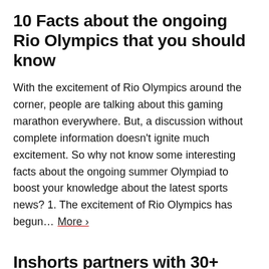10 Facts about the ongoing Rio Olympics that you should know
With the excitement of Rio Olympics around the corner, people are talking about this gaming marathon everywhere. But, a discussion without complete information doesn't ignite much excitement. So why not know some interesting facts about the ongoing summer Olympiad to boost your knowledge about the latest sports news? 1. The excitement of Rio Olympics has begun…   More ›
Inshorts partners with 30+ content publishers and 5 e-commerce players to boost content discovery